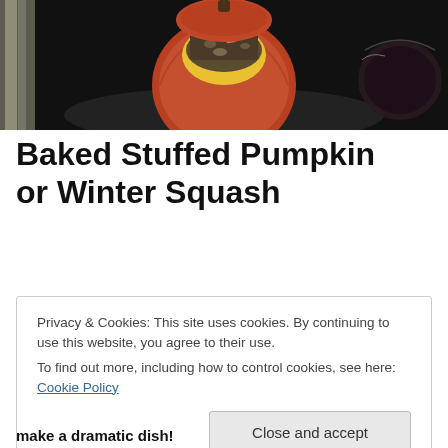[Figure (photo): Photo of a baked stuffed pumpkin or winter squash filled with a stuffing mixture, placed on a dark baking tray. Aluminum foil and a dark bowl are visible in the background.]
Baked Stuffed Pumpkin or Winter Squash
Privacy & Cookies: This site uses cookies. By continuing to use this website, you agree to their use.
To find out more, including how to control cookies, see here: Cookie Policy
Close and accept
make a dramatic dish!